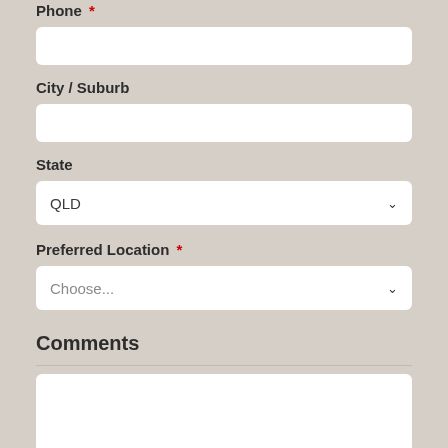Phone *
City / Suburb
State
QLD
Preferred Location *
Choose...
Comments